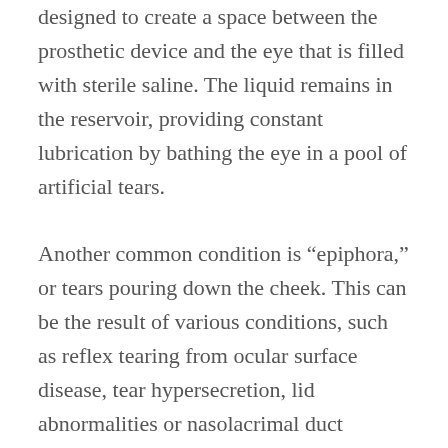designed to create a space between the prosthetic device and the eye that is filled with sterile saline. The liquid remains in the reservoir, providing constant lubrication by bathing the eye in a pool of artificial tears.
Another common condition is “epiphora,” or tears pouring down the cheek. This can be the result of various conditions, such as reflex tearing from ocular surface disease, tear hypersecretion, lid abnormalities or nasolacrimal duct obstruction. Reflex tearing is tearing in response